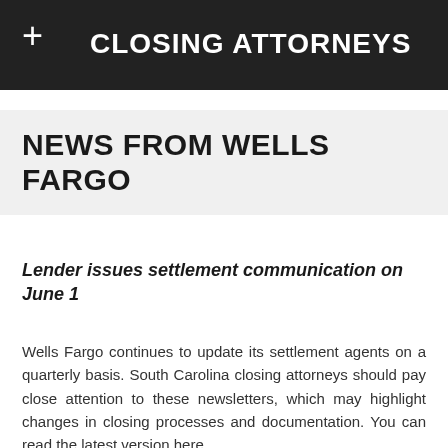CLOSING ATTORNEYS
NEWS FROM WELLS FARGO
Lender issues settlement communication on June 1
Wells Fargo continues to update its settlement agents on a quarterly basis. South Carolina closing attorneys should pay close attention to these newsletters, which may highlight changes in closing processes and documentation. You can read the latest version here.